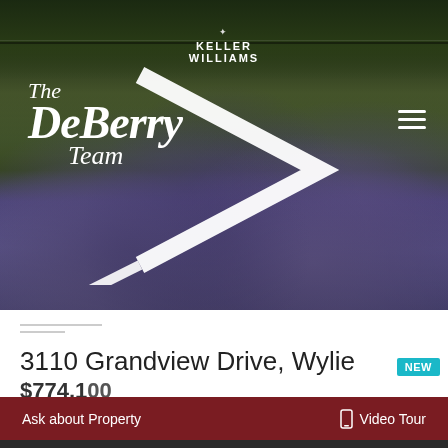[Figure (photo): Hero banner photo of a bluebonnet wildflower field in Texas with dark tree line at top. The DeBerry Team / Keller Williams branding overlay with white script logo and chevron arrow on left, hamburger menu icon on right.]
3110 Grandview Drive, Wylie
$774,100 (partially visible)
NEW
Ask about Property
Video Tour